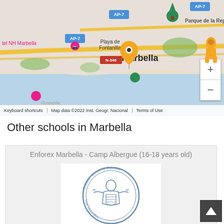[Figure (map): Google Maps screenshot showing Marbella, Spain area with location pins, road labels (AP-7, N-340), landmarks (Hotel NH Marbella, Playa de Fontanilla, Parque de la Represa), and an orange selected pin marker.]
Other schools in Marbella
Enforex Marbella - Camp Albergue (16-18 years old)
[Figure (logo): Enforex circular logo - Centro de Estudios Internacionales seal with a figure holding a shield, ornate border with text 'Enforex · Centro de Estudios Internacionales']
Spain